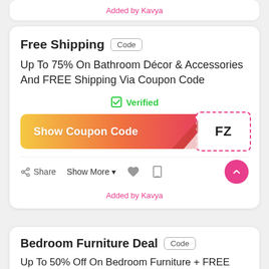Added by Kavya
Free Shipping
Up To 75% On Bathroom Décor & Accessories And FREE Shipping Via Coupon Code
Verified
[Figure (infographic): Show Coupon Code button with gradient background (yellow to pink/red) and a dashed-border code reveal box showing 'FZ' on the right with a peel corner effect]
Share   Show More ▾
Added by Kavya
Bedroom Furniture Deal
Up To 50% Off On Bedroom Furniture + FREE Shipping Using Pottery Barns Code